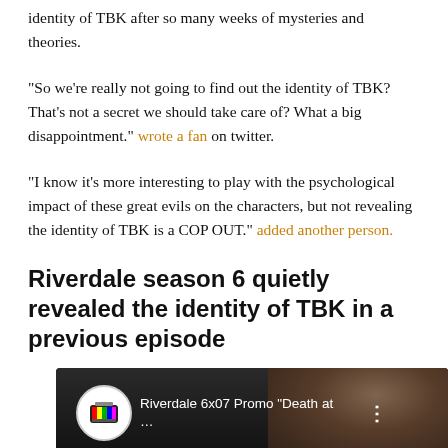identity of TBK after so many weeks of mysteries and theories.
“So we’re really not going to find out the identity of TBK? That’s not a secret we should take care of? What a big disappointment.” wrote a fan on twitter.
“I know it’s more interesting to play with the psychological impact of these great evils on the characters, but not revealing the identity of TBK is a COP OUT.” added another person.
Riverdale season 6 quietly revealed the identity of TBK in a previous episode
[Figure (screenshot): YouTube video thumbnail showing Riverdale 6x07 Promo 'Death at ...' with TV channel icon and actor faces]